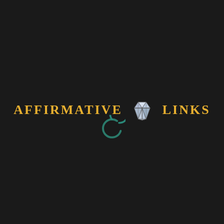[Figure (logo): Affirmative Links logo: yellow/gold uppercase text 'AFFIRMATIVE' on the left, a diamond gem icon in the center, and yellow/gold uppercase text 'LINKS' on the right, with a teal/dark circular ring icon below center, all on a dark near-black background.]